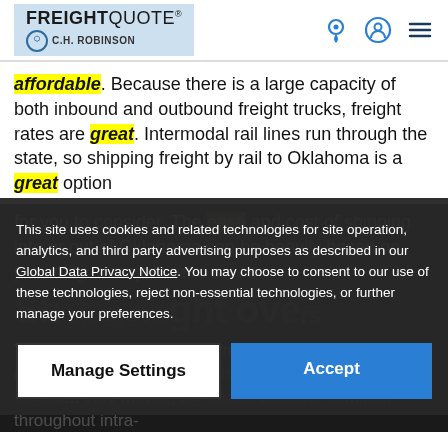FREIGHTQUOTE by C.H. ROBINSON
affordable. Because there is a large capacity of both inbound and outbound freight trucks, freight rates are great. Intermodal rail lines run through the state, so shipping freight by rail to Oklahoma is a great option for you to consider. The ease and cost of shipping into or out of Oklahoma can be heavily based on proximity to major metro areas
Sh... Frei...
This site uses cookies and related technologies for site operation, analytics, and third party advertising purposes as described in our Global Data Privacy Notice. You may choose to consent to our use of these technologies, reject non-essential technologies, or further manage your preferences.
Manage Settings   Accept
Texas freight rates Texas freight shipping is very active due to shipping, and heavy industry throughout the sta... very moving on flatbed trucks is common throughout intra-